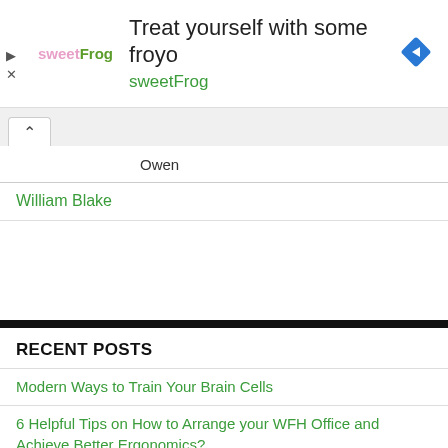[Figure (infographic): sweetFrog frozen yogurt advertisement banner with logo, headline 'Treat yourself with some froyo', 'sweetFrog' subtitle, and a blue diamond navigation icon on the right.]
...ed Owen
William Blake
RECENT POSTS
Modern Ways to Train Your Brain Cells
6 Helpful Tips on How to Arrange your WFH Office and Achieve Better Ergonomics?
“Casualty” by Seamus Heaney
Biography of Ernest Hemingway